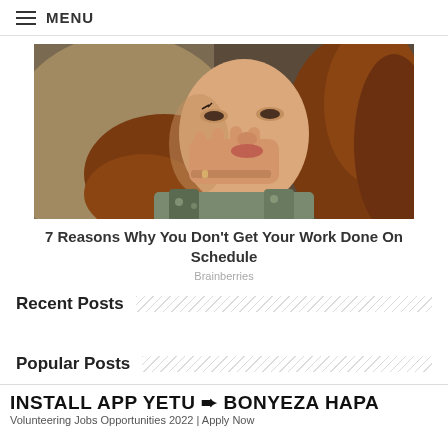≡ MENU
[Figure (photo): A woman with red/auburn wavy hair resting her face on her hand, wearing a floral top, photographed in a contemplative pose.]
7 Reasons Why You Don't Get Your Work Done On Schedule
Brainberries
Recent Posts
Popular Posts
INSTALL APP YETU ➨ BONYEZA HAPA
Volunteering Jobs Opportunities 2022 | Apply Now